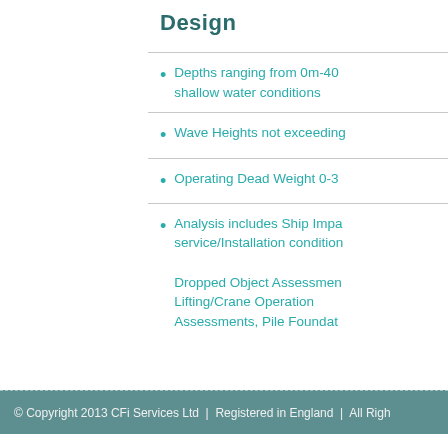Design
Depths ranging from 0m-40 shallow water conditions
Wave Heights not exceeding
Operating Dead Weight 0-3
Analysis includes Ship Impa service/Installation condition Dropped Object Assessment Lifting/Crane Operation Assessments, Pile Foundat
© Copyright 2013 CFi Services Ltd  |  Registered in England  |  All Righ